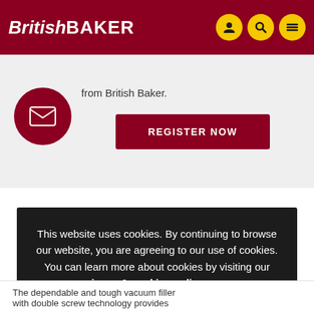British Baker
from British Baker.
REGISTER NOW
This website uses cookies. By continuing to browse our website, you are agreeing to our use of cookies. You can learn more about cookies by visiting our privacy & cookies policy page.
OK
The dependable and tough vacuum filler with double screw technology provides